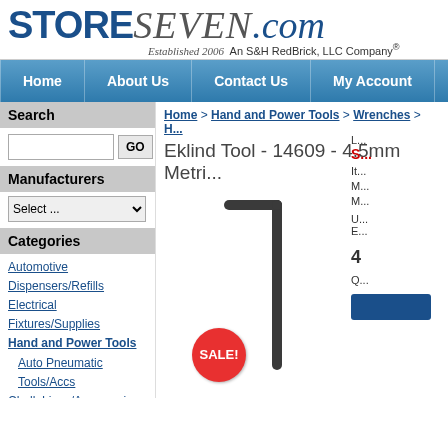[Figure (logo): StoreSeven.com logo with 'STORE' in bold blue, 'SEVEN' in italic gray script, '.com' in italic blue, subtitle 'Established 2006 An S&H RedBrick, LLC Company®']
Home | About Us | Contact Us | My Account
Search
Search input field with GO button
Manufacturers
Select ... (dropdown)
Categories
Automotive
Dispensers/Refills
Electrical Fixtures/Supplies
Hand and Power Tools
Auto Pneumatic
Tools/Accs
Chalk Lines/Accessories
Clamps
Home > Hand and Power Tools > Wrenches > H...
Eklind Tool - 14609 - 4.5mm Metri...
[Figure (photo): L-shaped hex allen key wrench, dark gray/black, with a red SALE! badge circle overlay]